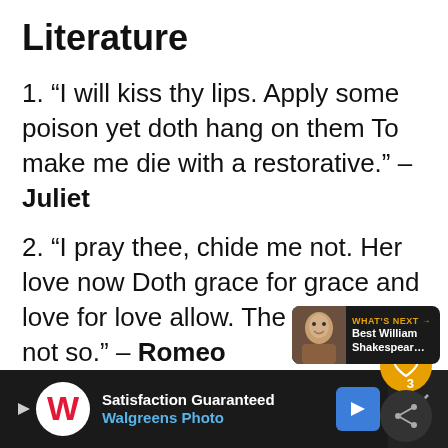Literature
“I will kiss thy lips. Apply some poison yet doth hang on them To make me die with a restorative.” – Juliet
“I pray thee, chide me not. Her love now Doth grace for grace and love for love allow. The other did not so.” – Romeo
[Figure (screenshot): Ad bar at bottom: Walgreens Photo ad with Satisfaction Guaranteed text, blue arrow button, and close X button on dark background]